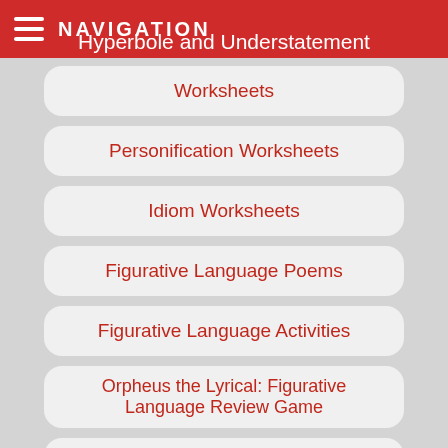NAVIGATION — Hyperbole and Understatement Worksheets
Hyperbole and Understatement Worksheets
Personification Worksheets
Idiom Worksheets
Figurative Language Poems
Figurative Language Activities
Orpheus the Lyrical: Figurative Language Review Game
Poetic Devices